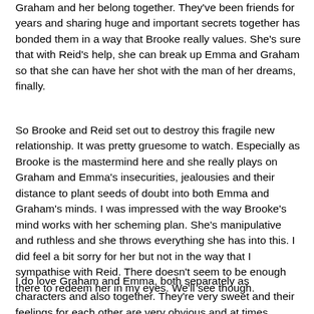Graham and her belong together. They've been friends for years and sharing huge and important secrets together has bonded them in a way that Brooke really values.  She's sure that with Reid's help, she can break up Emma and Graham so that she can have her shot with the man of her dreams, finally.
So Brooke and Reid set out to destroy this fragile new relationship.  It was pretty gruesome to watch. Especially as Brooke is the mastermind here and she really plays on Graham and Emma's insecurities, jealousies and their distance to plant seeds of doubt into both Emma and Graham's minds.  I was impressed with the way Brooke's mind works with her scheming plan.  She's manipulative and ruthless and she throws everything she has into this.  I did feel a bit sorry for her but not in the way that I sympathise with Reid. There doesn't seem to be enough there to redeem her in my eyes. We'll see though.
I do love Graham and Emma, both separately as characters and also together.  They're very sweet and their feelings for each other are very obvious and at times incredibly sappy. I was rooting for them throughout and I really enjoyed...